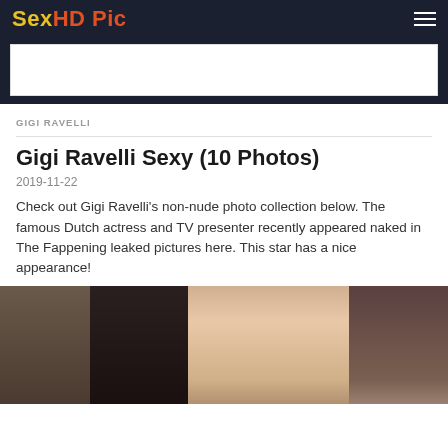SexHD Pic
[Figure (other): Advertisement banner placeholder]
GIGI RAVELLI
Gigi Ravelli Sexy (10 Photos)
2019-11-22
Check out Gigi Ravelli's non-nude photo collection below. The famous Dutch actress and TV presenter recently appeared naked in The Fappening leaked pictures here. This star has a nice appearance!
[Figure (photo): Photo of Gigi Ravelli with other people at an event]